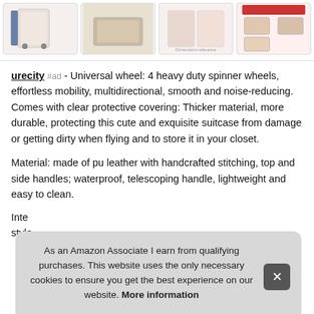[Figure (photo): Row of four product thumbnail images of luggage/suitcase]
urecity #ad - Universal wheel: 4 heavy duty spinner wheels, effortless mobility, multidirectional, smooth and noise-reducing. Comes with clear protective covering: Thicker material, more durable, protecting this cute and exquisite suitcase from damage or getting dirty when flying and to store it in your closet.
Material: made of pu leather with handcrafted stitching, top and side handles; waterproof, telescoping handle, lightweight and easy to clean.
Inte style,
As an Amazon Associate I earn from qualifying purchases. This website uses the only necessary cookies to ensure you get the best experience on our website. More information